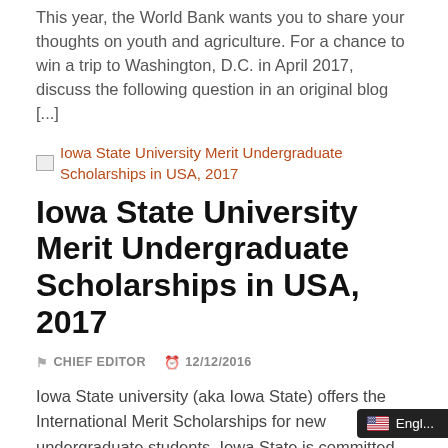This year, the World Bank wants you to share your thoughts on youth and agriculture. For a chance to win a trip to Washington, D.C. in April 2017, discuss the following question in an original blog [...]
[Figure (other): Broken image placeholder link for Iowa State University Merit Undergraduate Scholarships in USA, 2017]
Iowa State University Merit Undergraduate Scholarships in USA, 2017
CHIEF EDITOR   12/12/2016
Iowa State university (aka Iowa State) offers the International Merit Scholarships for new undergraduate students. Iowa State is committed to enrolling a diverse and talented student population. The International Merit Scholarship is awarded to students who have demonstrated strong academic achievement, and outstanding talent or achievements in one or more areas...